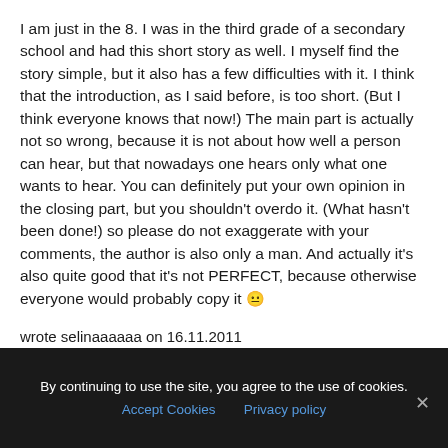I am just in the 8. I was in the third grade of a secondary school and had this short story as well. I myself find the story simple, but it also has a few difficulties with it. I think that the introduction, as I said before, is too short. (But I think everyone knows that now!) The main part is actually not so wrong, because it is not about how well a person can hear, but that nowadays one hears only what one wants to hear. You can definitely put your own opinion in the closing part, but you shouldn't overdo it. (What hasn't been done!) so please do not exaggerate with your comments, the author is also only a man. And actually it's also quite good that it's not PERFECT, because otherwise everyone would probably copy it 😐
wrote selinaaaaaa on 16.11.2011
By continuing to use the site, you agree to the use of cookies. Accept Cookies Privacy policy